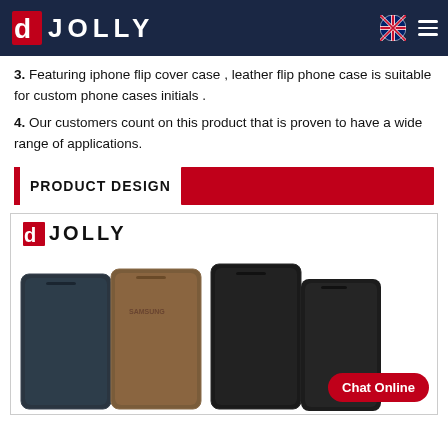DJolly (logo)
3. Featuring iphone flip cover case , leather flip phone case is suitable for custom phone cases initials .
4. Our customers count on this product that is proven to have a wide range of applications.
PRODUCT DESIGN
[Figure (photo): Product image showing multiple leather flip phone cases (blue/grey, brown, and black) fanned out, with a DJolly logo in the top-left corner and a red 'Chat Online' button in the bottom-right.]